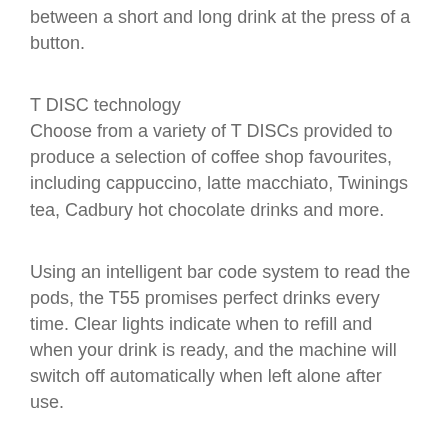between a short and long drink at the press of a button.
T DISC technology
Choose from a variety of T DISCs provided to produce a selection of coffee shop favourites, including cappuccino, latte macchiato, Twinings tea, Cadbury hot chocolate drinks and more.
Using an intelligent bar code system to read the pods, the T55 promises perfect drinks every time. Clear lights indicate when to refill and when your drink is ready, and the machine will switch off automatically when left alone after use.
Innovative design
The black and chrome coffee machine is slim and attractive, taking up minimal space in your kitchen. Convenient features like the adjustable cup stand and automatic descaling indicator make operation easy. You can also adjust the strength of coffee to suit your